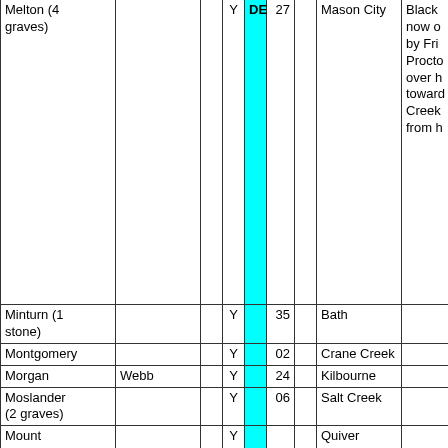| Name | Also Known As |  |  | DE | Num | Township/Location | Notes |
| --- | --- | --- | --- | --- | --- | --- | --- |
| Melton (4 graves) |  |  | Y | DE | 27 | Mason City | Black... now o... by Fri... Procto... over h... toward... Creek... from h... |
| Minturn (1 stone) |  |  | Y |  | 35 | Bath |  |
| Montgomery |  |  | Y |  | 02 | Crane Creek |  |
| Morgan | Webb |  | Y |  | 24 | Kilbourne |  |
| Moslander (2 graves) |  |  | Y |  | 06 | Salt Creek |  |
| Mount Carmel |  |  | Y |  |  | Quiver |  |
| Mount Zion |  |  | Y | Y | 36 | Bath |  |
| Mowder | Steging or Long Branch |  | Y | Y | 15 | Havana | On Ca... Stegin... July 1... |
|  |  |  |  |  |  |  | Half M... |
| Neikirk |  |  | Y | Y | 12 | Forest City | SW of... City, l... of M... |